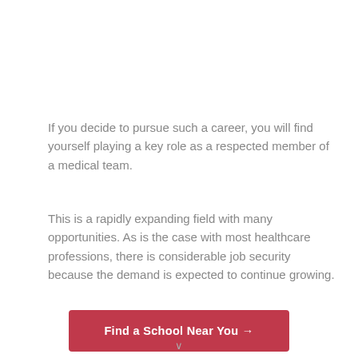If you decide to pursue such a career, you will find yourself playing a key role as a respected member of a medical team.
This is a rapidly expanding field with many opportunities. As is the case with most healthcare professions, there is considerable job security because the demand is expected to continue growing.
[Figure (other): Red button with white text reading 'Find a School Near You' with a right-arrow icon]
∨